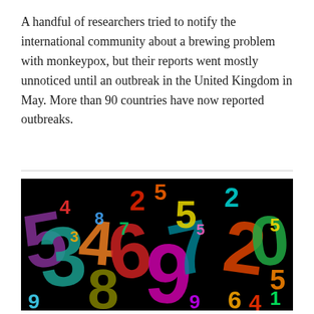A handful of researchers tried to notify the international community about a brewing problem with monkeypox, but their reports went mostly unnoticed until an outbreak in the United Kingdom in May. More than 90 countries have now reported outbreaks.
[Figure (illustration): Colorful illustration of overlapping numbers (0-9) in various sizes on a black background, rendered in rainbow chalk-like colors including red, orange, yellow, green, blue, purple, and teal.]